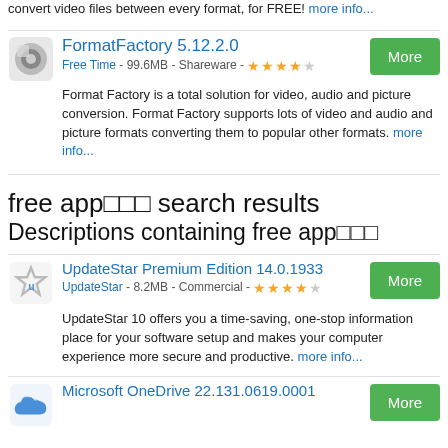convert video files between every format, for FREE! more info...
FormatFactory 5.12.2.0
Free Time - 99.6MB - Shareware - ★★★★☆
Format Factory is a total solution for video, audio and picture conversion. Format Factory supports lots of video and audio and picture formats converting them to popular other formats. more info...
free app□□□ search results
Descriptions containing free app□□□
UpdateStar Premium Edition 14.0.1933
UpdateStar - 8.2MB - Commercial - ★★★★☆
UpdateStar 10 offers you a time-saving, one-stop information place for your software setup and makes your computer experience more secure and productive. more info...
Microsoft OneDrive 22.131.0619.0001